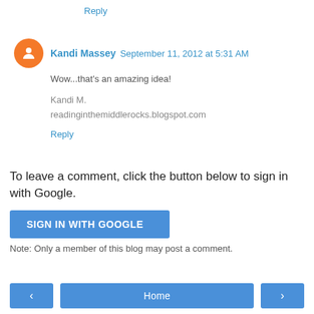Reply
Kandi Massey  September 11, 2012 at 5:31 AM
Wow...that's an amazing idea!

Kandi M.
readinginthemiddlerocks.blogspot.com
Reply
To leave a comment, click the button below to sign in with Google.
SIGN IN WITH GOOGLE
Note: Only a member of this blog may post a comment.
‹  Home  ›